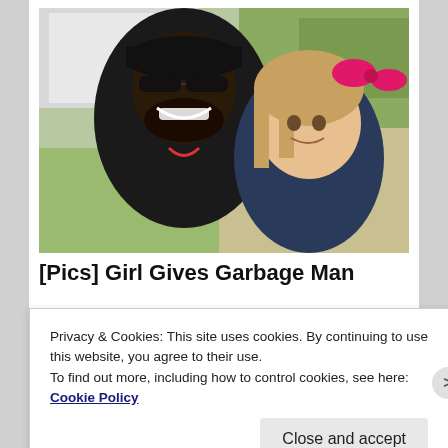[Figure (photo): A man wearing a black cap and sunglasses smiling beside a young blonde girl with a pink bow in her hair, outdoors near a white truck with grass in the background.]
[Pics] Girl Gives Garbage Man
Privacy & Cookies: This site uses cookies. By continuing to use this website, you agree to their use.
To find out more, including how to control cookies, see here: Cookie Policy
Close and accept